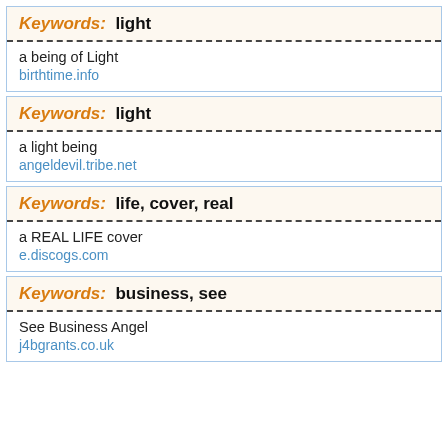Keywords: light
a being of Light
birthtime.info
Keywords: light
a light being
angeldevil.tribe.net
Keywords: life, cover, real
a REAL LIFE cover
e.discogs.com
Keywords: business, see
See Business Angel
j4bgrants.co.uk